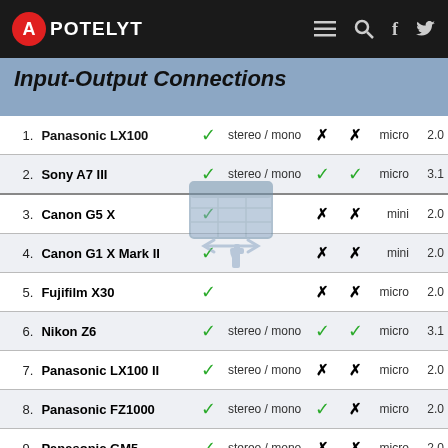APOTELYT
Input-Output Connections
| # | Camera | Mic | Audio | HDMI | Flash | USB size | USB ver |
| --- | --- | --- | --- | --- | --- | --- | --- |
| 1. | Panasonic LX100 | ✓ | stereo / mono | ✗ | ✗ | micro | 2.0 |
| 2. | Sony A7 III | ✓ | stereo / mono | ✓ | ✓ | micro | 3.1 |
| 3. | Canon G5 X | ✓ |  | ✗ | ✗ | mini | 2.0 |
| 4. | Canon G1 X Mark II | ✓ |  | ✗ | ✗ | mini | 2.0 |
| 5. | Fujifilm X30 | ✓ |  | ✗ | ✗ | micro | 2.0 |
| 6. | Nikon Z6 | ✓ | stereo / mono | ✓ | ✓ | micro | 3.1 |
| 7. | Panasonic LX100 II | ✓ | stereo / mono | ✗ | ✗ | micro | 2.0 |
| 8. | Panasonic FZ1000 | ✓ | stereo / mono | ✓ | ✗ | micro | 2.0 |
| 9. | Panasonic GM5 | ✓ | stereo / mono | ✗ | ✗ | micro | 2.0 |
| 10. | Panasonic G6 | ✓ | stereo / mono | ✓ | ✗ | mini | 2.0 |